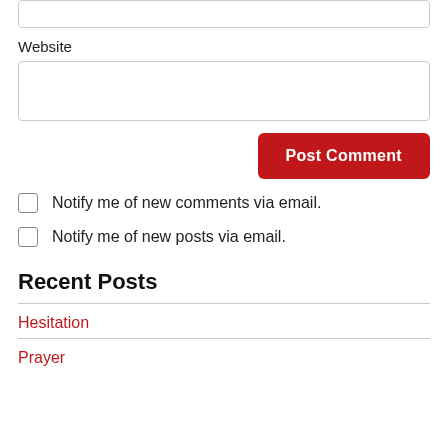[Figure (screenshot): Top of page showing cut-off input box at the top edge]
Website
[Figure (screenshot): Website input text field (empty)]
Post Comment
Notify me of new comments via email.
Notify me of new posts via email.
Recent Posts
Hesitation
Prayer